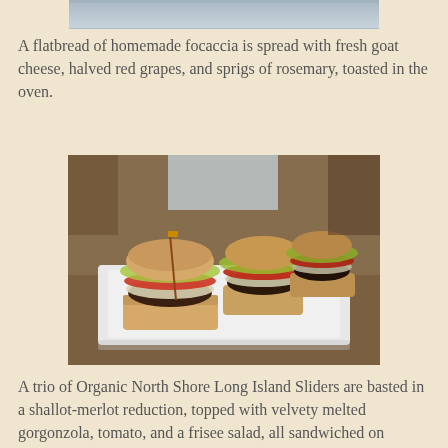[Figure (photo): Partial top edge of a photo, showing what appears to be a flatbread dish]
A flatbread of homemade focaccia is spread with fresh goat cheese, halved red grapes, and sprigs of rosemary, toasted in the oven.
[Figure (photo): A trio of mini burger sliders on a white plate, with melted gorgonzola cheese, tomato slices, and frisee salad on top, served on Turkish somun bread]
A trio of Organic North Shore Long Island Sliders are basted in a shallot-merlot reduction, topped with velvety melted gorgonzola, tomato, and a frisee salad, all sandwiched on Turkish somun bread from local Pain D'Avignon Bakery.